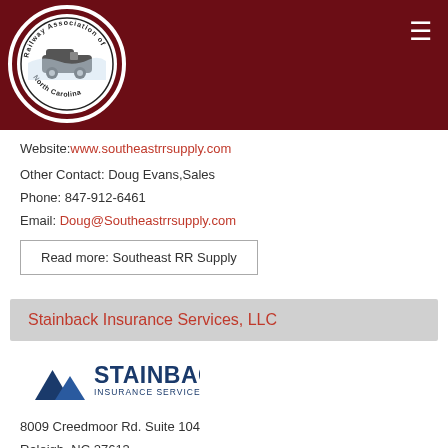[Figure (logo): Railway Association of North Carolina circular logo with train image in center, white border on dark red header background]
Website: www.southeastrrsupply.com
Other Contact: Doug Evans, Sales
Phone: 847-912-6461
Email: Doug@Southeastrrsupply.com
Read more: Southeast RR Supply
Stainback Insurance Services, LLC
[Figure (logo): Stainback Insurance Services LLC logo with blue mountain/triangle shapes and blue text]
8009 Creedmoor Rd. Suite 104
Raleigh, NC 27613
Phone: 919-795-8878